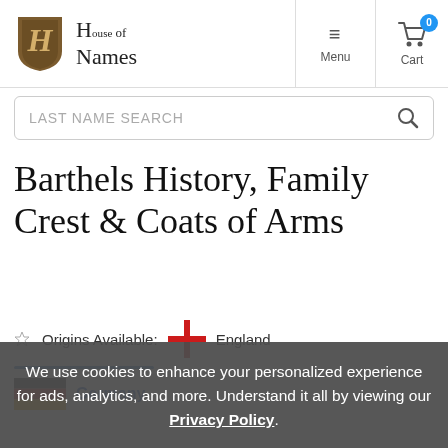[Figure (logo): House of Names logo with shield icon and blackletter text]
Menu
Cart 0
LAST NAME SEARCH
Barthels History, Family Crest & Coats of Arms
Origins Available: England
Germany
We use cookies to enhance your personalized experience for ads, analytics, and more. Understand it all by viewing our Privacy Policy.